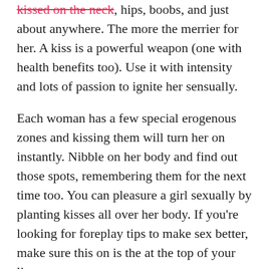kissed on the neck, hips, boobs, and just about anywhere. The more the merrier for her. A kiss is a powerful weapon (one with health benefits too). Use it with intensity and lots of passion to ignite her sensually.
Each woman has a few special erogenous zones and kissing them will turn her on instantly. Nibble on her body and find out those spots, remembering them for the next time too. You can pleasure a girl sexually by planting kisses all over her body. If you're looking for foreplay tips to make sex better, make sure this on is the at the top of your list.